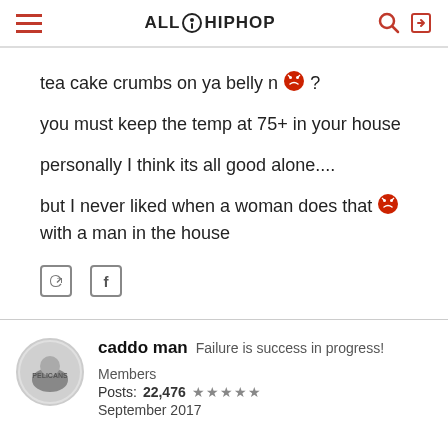ALL HIPHOP
tea cake crumbs on ya belly n 😡 ?
you must keep the temp at 75+ in your house
personally I think its all good alone....
but I never liked when a woman does that 😡 with a man in the house
caddo man  Failure is success in progress!  Members
Posts: 22,476 ★★★★★
September 2017